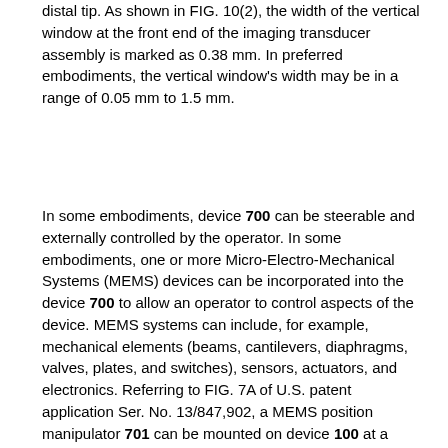distal tip. As shown in FIG. 10(2), the width of the vertical window at the front end of the imaging transducer assembly is marked as 0.38 mm. In preferred embodiments, the vertical window's width may be in a range of 0.05 mm to 1.5 mm.
In some embodiments, device 700 can be steerable and externally controlled by the operator. In some embodiments, one or more Micro-Electro-Mechanical Systems (MEMS) devices can be incorporated into the device 700 to allow an operator to control aspects of the device. MEMS systems can include, for example, mechanical elements (beams, cantilevers, diaphragms, valves, plates, and switches), sensors, actuators, and electronics. Referring to FIG. 7A of U.S. patent application Ser. No. 13/847,902, a MEMS position manipulator 701 can be mounted on device 100 at a distal portion of device 100 to control a position of transducer 210 to, for example, standard position 702, Position A 702 a or Position B 702 b. In other embodiments, one or more MEMS devices can be provided to function as tiny sensors and actuators. For example, MEMS can be incorporated in the device for measuring and monitoring pressure in the stomach or